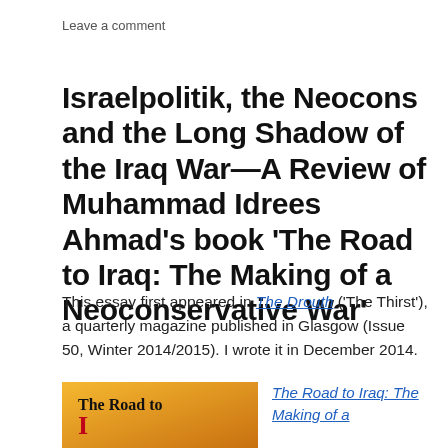Leave a comment
Israelpolitik, the Neocons and the Long Shadow of the Iraq War—A Review of Muhammad Idrees Ahmad's book 'The Road to Iraq: The Making of a Neoconservative War'
This essay first appeared in The Drouth ('The Thirst'), a quarterly magazine published in Glasgow (Issue 50, Winter 2014/2015). I wrote it in December 2014.
[Figure (illustration): Book cover of 'The Road to Iraq' with orange/yellow background and partial title text visible]
The Road to Iraq: The Making of a